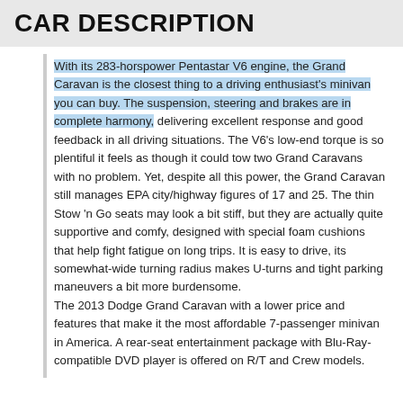CAR DESCRIPTION
With its 283-horspower Pentastar V6 engine, the Grand Caravan is the closest thing to a driving enthusiast's minivan you can buy. The suspension, steering and brakes are in complete harmony, delivering excellent response and good feedback in all driving situations. The V6's low-end torque is so plentiful it feels as though it could tow two Grand Caravans with no problem. Yet, despite all this power, the Grand Caravan still manages EPA city/highway figures of 17 and 25. The thin Stow 'n Go seats may look a bit stiff, but they are actually quite supportive and comfy, designed with special foam cushions that help fight fatigue on long trips. It is easy to drive, its somewhat-wide turning radius makes U-turns and tight parking maneuvers a bit more burdensome.
The 2013 Dodge Grand Caravan with a lower price and features that make it the most affordable 7-passenger minivan in America. A rear-seat entertainment package with Blu-Ray-compatible DVD player is offered on R/T and Crew models.